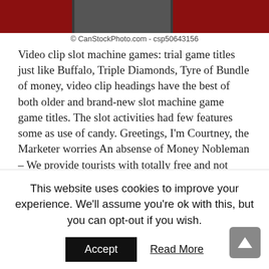[Figure (photo): Partial image of slot machine or casino-related graphic with dark red and gray tones]
© CanStockPhoto.com - csp50643156
Video clip slot machine games: trial game titles just like Buffalo, Triple Diamonds, Tyre of Bundle of money, video clip headings have the best of both older and brand-new slot machine game game titles. The slot activities had few features some as use of candy. Greetings, I'm Courtney, the Marketer worries An absense of Money Nobleman – We provide tourists with totally free and not difficult connection to natural dollars gambling den games regards to hardly any money gambling den extras given by just our hand-picked range of online casinos. Ensuring that every sole wager you may perform slot machines with regard to true
This website uses cookies to improve your experience. We'll assume you're ok with this, but you can opt-out if you wish.
Accept
Read More